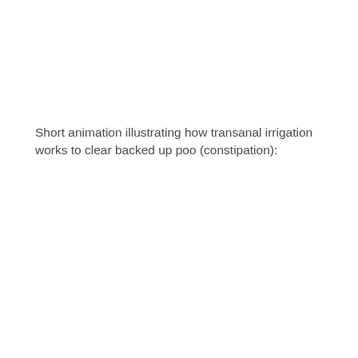Short animation illustrating how transanal irrigation works to clear backed up poo (constipation):